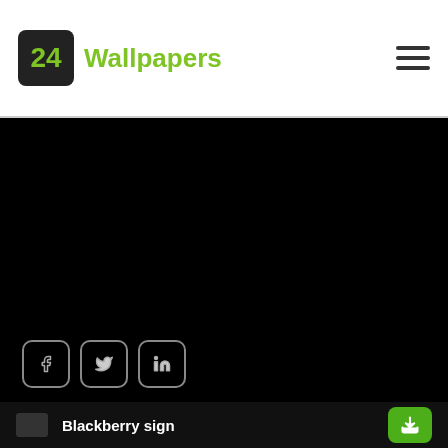24 Wallpapers
[Figure (screenshot): Black image area with Facebook, Twitter, and LinkedIn social share buttons at bottom left]
Blackberry sign
[Figure (screenshot): Black bottom card thumbnail area partially visible]